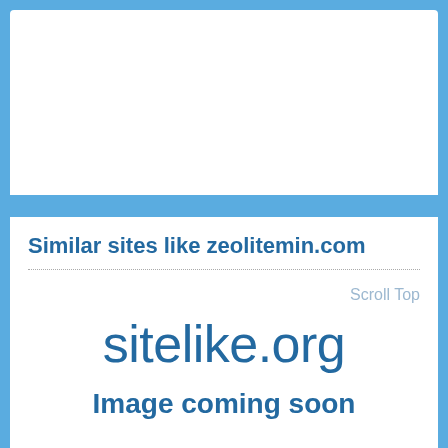[Figure (screenshot): White empty panel area at the top of the page, part of a website UI]
Similar sites like zeolitemin.com
Scroll Top
sitelike.org
Image coming soon